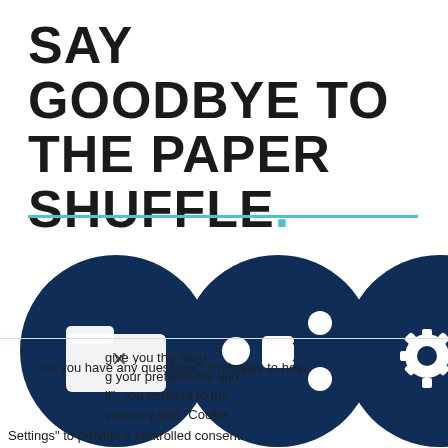SAY GOODBYE TO THE PAPER SHUFFLE.
[Figure (illustration): Three dark navy blue circle icons in a row: a folder icon, a network/workflow icon, and gear/settings icons, partially visible at the bottom of the page behind a cookie consent popup.]
Do you have any questions? I'm happy to help.
give you the most g your preferences and ll", you consent to the you may visit "Cookie Settings" to provide a controlled consent.
Settings
Accept All